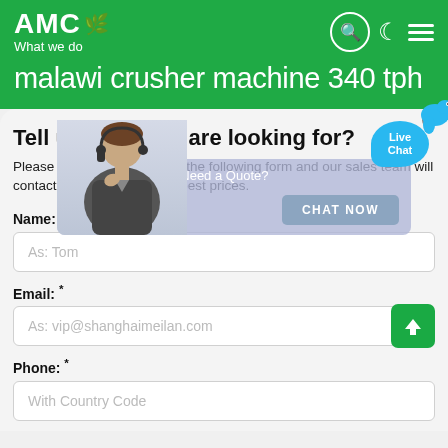[Figure (logo): AMC logo with leaf icon and tagline 'What we do' on green background]
malawi crusher machine 340 tph
Tell us what you are looking for?
Please complete and submit the following form and our sales team will contact you shortly with our best prices.
Name: *
As: Tom
Email: *
As: vip@shanghaimeilan.com
Phone: *
With Country Code
[Figure (screenshot): Live chat popup with customer service representative, 'Have Questions or Need a Quote?' banner, CHAT NOW button, and Live Chat bubble]
[Figure (illustration): Green upload/send button with upward arrow icon]